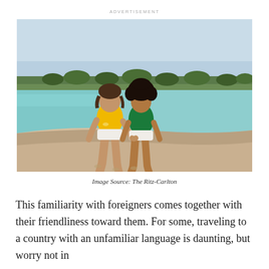ADVERTISEMENT
[Figure (photo): Two young girls walking hand-in-hand on a sandy beach with turquoise water. One girl wears a yellow polo shirt and white shorts; the other wears a green polo shirt and white shorts. Palm trees and shoreline visible in the background.]
Image Source: The Ritz-Carlton
This familiarity with foreigners comes together with their friendliness toward them. For some, traveling to a country with an unfamiliar language is daunting, but worry not in